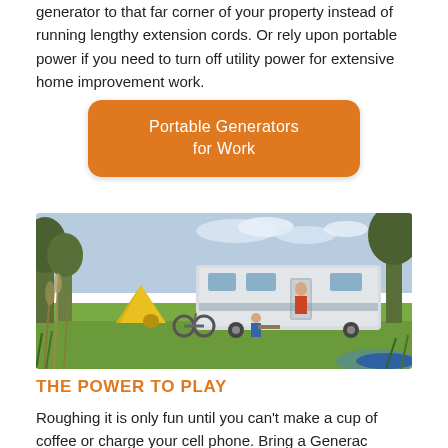generator to that far corner of your property instead of running lengthy extension cords. Or rely upon portable power if you need to turn off utility power for extensive home improvement work.
Portable Generators for Work
[Figure (photo): Outdoor camping scene with a large white RV/motorhome, a yellow tent, trees, and green grass near a body of water. A person stands in the doorway of the RV.]
THE POWER TO PLAY
Roughing it is only fun until you can't make a cup of coffee or charge your cell phone. Bring a Generac portable generator to your next tailgate party or camping trip and you'll have all the comforts